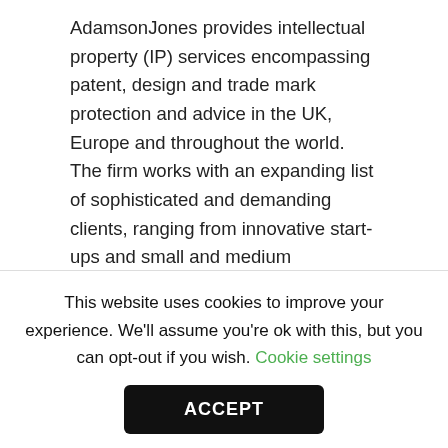AdamsonJones provides intellectual property (IP) services encompassing patent, design and trade mark protection and advice in the UK, Europe and throughout the world. The firm works with an expanding list of sophisticated and demanding clients, ranging from innovative start-ups and small and medium enterprises (SMEs) to multinational corporations and internationally renowned universities. AdamsonJones also represents ...
Continue reading
[Figure (logo): Boodle Hatfield. logo in red serif font]
This website uses cookies to improve your experience. We'll assume you're ok with this, but you can opt-out if you wish. Cookie settings
ACCEPT